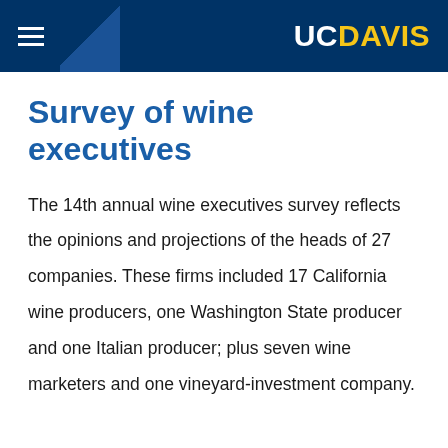UC DAVIS
Survey of wine executives
The 14th annual wine executives survey reflects the opinions and projections of the heads of 27 companies. These firms included 17 California wine producers, one Washington State producer and one Italian producer; plus seven wine marketers and one vineyard-investment company.